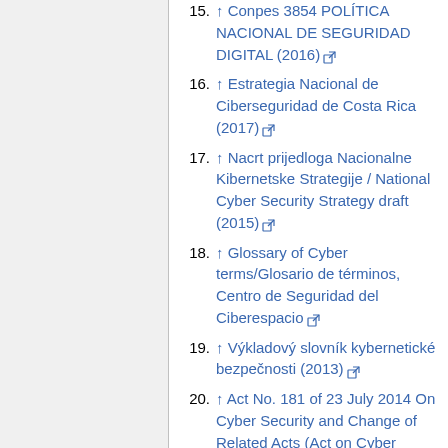15. ↑ Conpes 3854 POLÍTICA NACIONAL DE SEGURIDAD DIGITAL (2016) [external link]
16. ↑ Estrategia Nacional de Ciberseguridad de Costa Rica (2017) [external link]
17. ↑ Nacrt prijedloga Nacionalne Kibernetske Strategije / National Cyber Security Strategy draft (2015) [external link]
18. ↑ Glossary of Cyber terms/Glosario de términos, Centro de Seguridad del Ciberespacio [external link]
19. ↑ Výkladový slovník kybernetické bezpečnosti (2013) [external link]
20. ↑ Act No. 181 of 23 July 2014 On Cyber Security and Change of Related Acts (Act on Cyber Security) [external link]